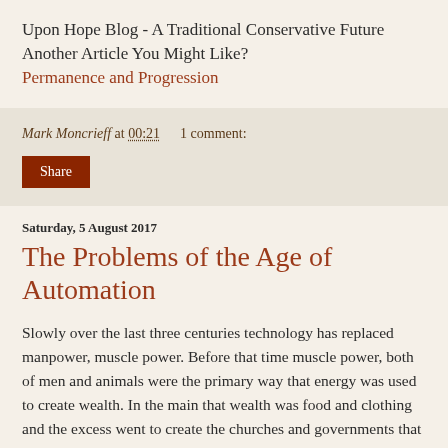Upon Hope Blog - A Traditional Conservative Future
Another Article You Might Like?
Permanence and Progression
Mark Moncrieff at 00:21    1 comment:
Share
Saturday, 5 August 2017
The Problems of the Age of Automation
Slowly over the last three centuries technology has replaced manpower, muscle power. Before that time muscle power, both of men and animals were the primary way that energy was used to create wealth. In the main that wealth was food and clothing and the excess went to create the churches and governments that existed. Starting roughly around 1700 machines began to replace